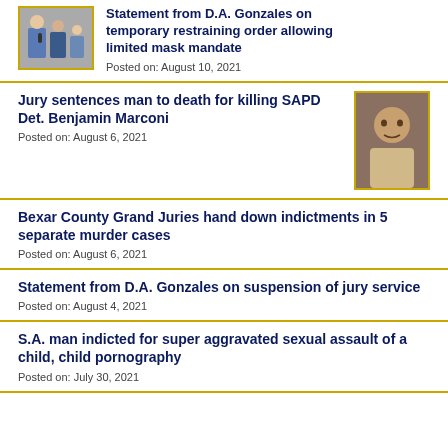[Figure (photo): Thumbnail photo of person at press event]
Statement from D.A. Gonzales on temporary restraining order allowing limited mask mandate
Posted on: August 10, 2021
Jury sentences man to death for killing SAPD Det. Benjamin Marconi
Posted on: August 6, 2021
[Figure (photo): Mugshot of suspect]
Bexar County Grand Juries hand down indictments in 5 separate murder cases
Posted on: August 6, 2021
Statement from D.A. Gonzales on suspension of jury service
Posted on: August 4, 2021
S.A. man indicted for super aggravated sexual assault of a child, child pornography
Posted on: July 30, 2021